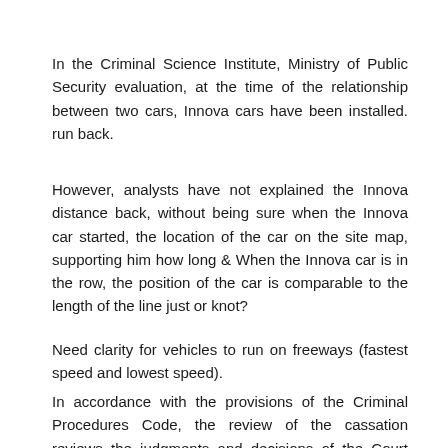In the Criminal Science Institute, Ministry of Public Security evaluation, at the time of the relationship between two cars, Innova cars have been installed. run back.
However, analysts have not explained the Innova distance back, without being sure when the Innova car started, the location of the car on the site map, supporting him how long & When the Innova car is in the row, the position of the car is comparable to the length of the line just or knot?
Need clarity for vehicles to run on freeways (fastest speed and lowest speed).
In accordance with the provisions of the Criminal Procedures Code, the review of the cassation reviews the judgments and decisions of the Court that had a legitimate impact but a complaint was made against the. find legal disputes in case situation. Project. The Chief Justice Judge of the High Court and the High Level Processing Director of Scotland will be entitled to, Complaints in accordance with cassation procedures are the